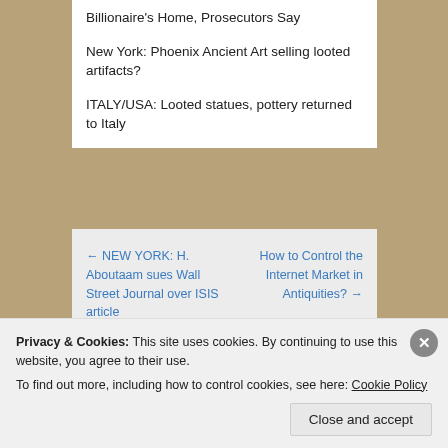Billionaire's Home, Prosecutors Say
New York: Phoenix Ancient Art selling looted artifacts?
ITALY/USA: Looted statues, pottery returned to Italy
← NEW YORK: H. Aboutaam sues Wall Street Journal over ISIS article
How to Control the Internet Market in Antiquities? →
Leave a Reply
Privacy & Cookies: This site uses cookies. By continuing to use this website, you agree to their use. To find out more, including how to control cookies, see here: Cookie Policy